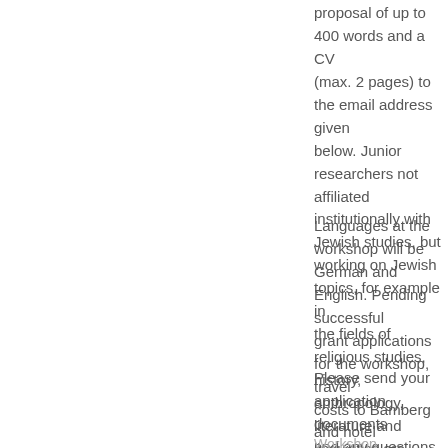proposal of up to 400 words and a CV (max. 2 pages) to the email address given below. Junior researchers not affiliated institutionally with Jewish studies, but working on Jewish topics, for example in the fields of religious studies, history, anthropology, literature and linguistics are in particular encouraged to apply.
Languages at the workshop will be German and English. Pending successful grant applications for the workshop, travel costs to Bamberg and hotel accommodations will be provided by the organizers. The workshop will be organized by the German Association for Jewish Studies (Vereinigung für Jüdische Studien, e.V.).
Please send your application documents and any questions to nachwuchstagungjudaistik@gmail.com
Workshop Organizers / Selection Process